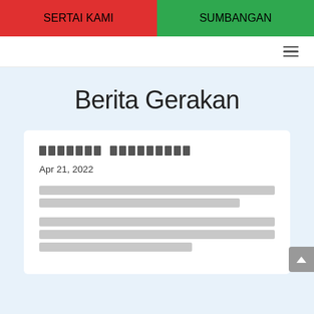SERTAI KAMI | SUMBANGAN
Berita Gerakan
□□□□□□□ □□□□□□□□□
Apr 21, 2022
[placeholder text block 1]
[placeholder text block 2]